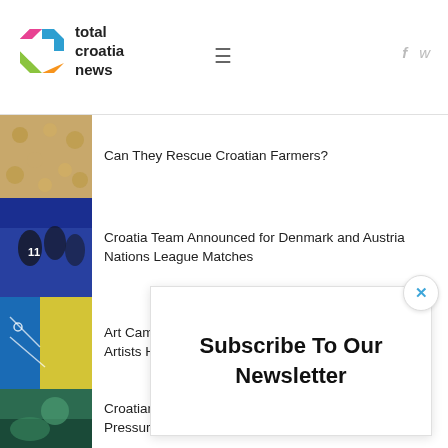total croatia news
Can They Rescue Croatian Farmers?
Croatia Team Announced for Denmark and Austria Nations League Matches
Art Camp, Workshops for Ukrainian Teachers and Artists Held on Mali Brijun
Croatian Red Cross – Beach Clean Ups and Blood Pressure Readings
Desp...
Subscribe To Our Newsletter